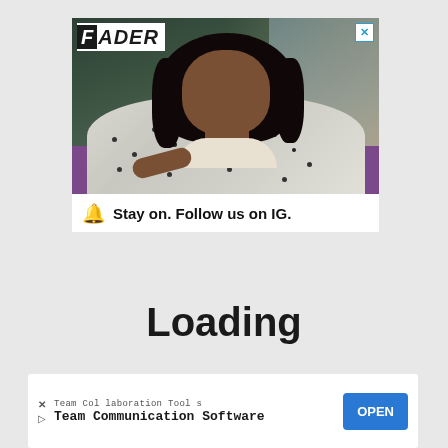[Figure (photo): FADER magazine advertisement featuring a young Black woman in a polka-dot jacket/coat, seated on a purple couch, with a white banner at the bottom reading 'Stay on. Follow us on IG.' with the FADER logo in the top-left corner and an X close button in the top-right corner.]
Loading
[Figure (screenshot): Mobile app advertisement banner at the bottom: 'Team Collaboration Tools / Team Communication Software' with an OPEN button on the right, and X and play icons on the left.]